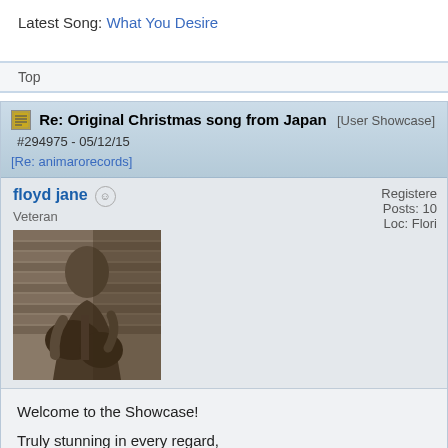Latest Song: What You Desire
Top
Re: Original Christmas song from Japan [User Showcase] #294975 - 05/12/15 [Re: animarorecords]
floyd jane  Veteran  Registered  Posts: 10  Loc: Flori
[Figure (photo): Black and white sepia photo of a person playing acoustic guitar]
Welcome to the Showcase!
Truly stunning in every regard,